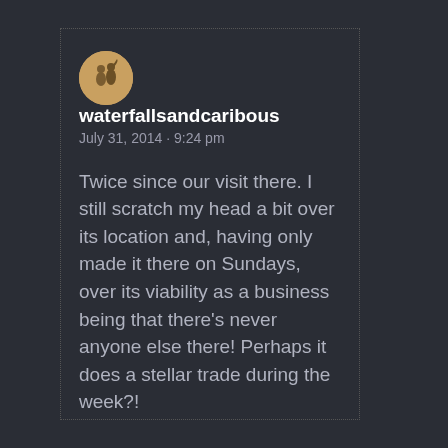[Figure (illustration): Circular avatar image with a warm beige/tan background showing a silhouette of two figures]
waterfallsandcaribous
July 31, 2014 · 9:24 pm
Twice since our visit there. I still scratch my head a bit over its location and, having only made it there on Sundays, over its viability as a business being that there's never anyone else there! Perhaps it does a stellar trade during the week?!